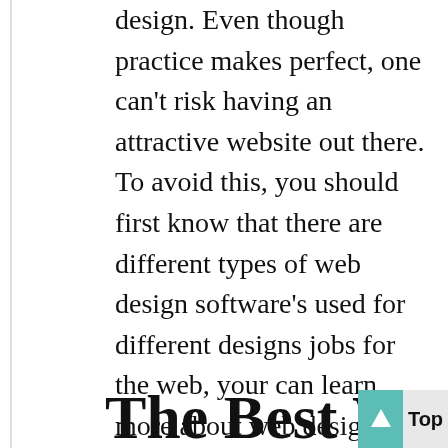design. Even though practice makes perfect, one can't risk having an attractive website out there. To avoid this, you should first know that there are different types of web design software's used for different designs jobs for the web, your can learn more about web design at www.cliquedmedia.com
It is always advisable to use the correct web design software for the intended purposes. This article contains the best web design software you can start using today and areas where they are preferably utilized.